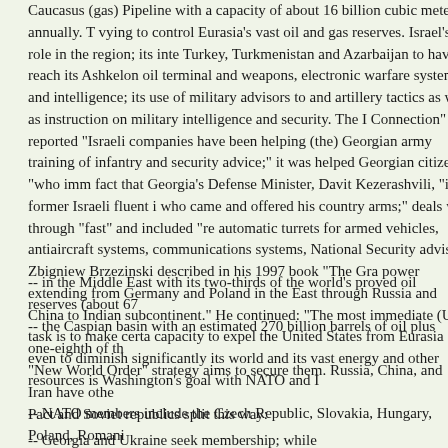Caucasus (gas) Pipeline with a capacity of about 16 billion cubic meters annually. T vying to control Eurasia's vast oil and gas reserves. Israel's role in the region; its inte Turkey, Turkmenistan and Azarbaijan to have it reach its Ashkelon oil terminal and weapons, electronic warfare systems and intelligence; its use of military advisors to and artillery tactics as well as instruction on military intelligence and security. The I Connection" and reported "Israeli companies have been helping (the) Georgian army training of infantry and security advice;" it was helped Georgian citizens "who imm fact that Georgia's Defense Minister, Davit Kezerashvili, "is a former Israeli fluent i who came and offered his country arms;" deals went through "fast" and included "re automatic turrets for armed vehicles, antiaircraft systems, communications systems, National Security advisor Zbigniew Brzezinski described in his 1997 book "The Gra power extending from Germany and Poland in the East through Russia and China to Indian subcontinent." He continued: "The most immediate (US) task is to make certa capacity to expel the United States from Eurasia or even to diminish significantly its world and its vast energy and other resources is Washington's goal with NATO and I
-- in the Middle East with its two-thirds of the world's proved oil reserves (about 67
-- the Caspian basin with an estimated 270 billion barrels of oil plus one-eighth of th
"New World Order" strategy aims to secure them. Russia, China, and Iran have othe Pact and Soviet republics split this way:
-- NATO members include the Czech Republic, Slovakia, Hungary, Poland, Romani
-- Georgia and Ukraine seek membership; while
-- Armenia, Azerbaijan, Belarus, Kazahkstan, Moldova, Tajikistan, Uzbekistan, Turk